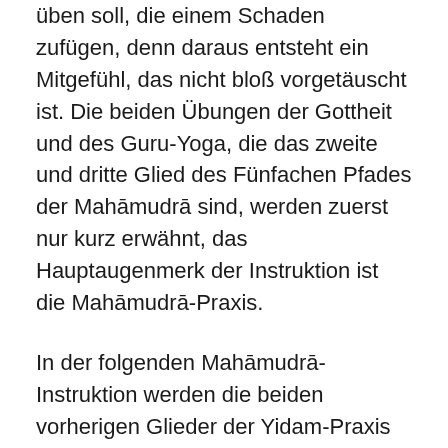üben soll, die einem Schaden zufügen, denn daraus entsteht ein Mitgefühl, das nicht bloß vorgetäuscht ist. Die beiden Übungen der Gottheit und des Guru-Yoga, die das zweite und dritte Glied des Fünfachen Pfades der Mahāmudrā sind, werden zuerst nur kurz erwähnt, das Hauptaugenmerk der Instruktion ist die Mahāmudrā-Praxis.
In der folgenden Mahāmudrā-Instruktion werden die beiden vorherigen Glieder der Yidam-Praxis und des Guru-Yoga aber noch einmal präzisiert. Tatsächlich ist es ja so, dass man Mahāmudrā praktiziert, nachdem man sich selbst als Gottheit visualisiert hat und – auch wenn es hier nicht ausdrücklich erwähnt wird – den Guru in seinem Herzen. In vielen Praxistexten zur Yidam-Gottheit heißt es nun, das man an bestimmten äußeren tantrischen Pilgerstätten praktiziert, die jeweils mit Stellen am eigenen